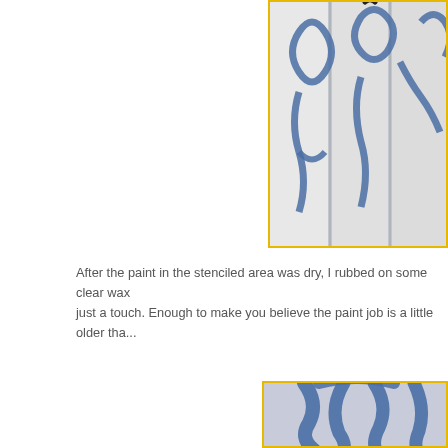[Figure (photo): Close-up photo of cabinet doors painted with blue Moroccan/lattice stencil pattern on white/light gray background. Yellow border around image.]
After the paint in the stenciled area was dry, I rubbed on some clear wax just a touch. Enough to make you believe the paint job is a little older tha...
[Figure (photo): Close-up photo of blue stencil pattern on white painted surface, showing curved Moroccan-style shapes. Yellow border around image.]